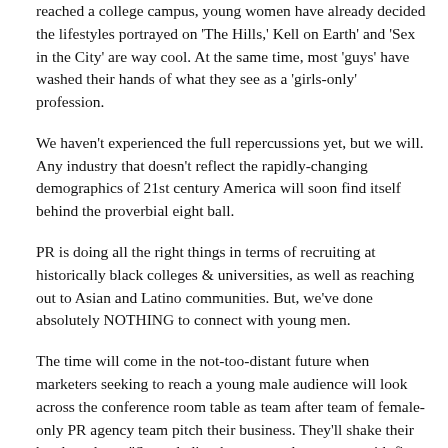reached a college campus, young women have already decided the lifestyles portrayed on 'The Hills,' Kell on Earth' and 'Sex in the City' are way cool. At the same time, most 'guys' have washed their hands of what they see as a 'girls-only' profession.
We haven't experienced the full repercussions yet, but we will. Any industry that doesn't reflect the rapidly-changing demographics of 21st century America will soon find itself behind the proverbial eight ball.
PR is doing all the right things in terms of recruiting at historically black colleges & universities, as well as reaching out to Asian and Latino communities. But, we've done absolutely NOTHING to connect with young men.
The time will come in the not-too-distant future when marketers seeking to reach a young male audience will look across the conference room table as team after team of female-only PR agency team pitch their business. They'll shake their heads and say, "Sorry, ladies, but we need to engage with firms who 'live' our target audience's lives. Advertising and digital firms are doing a much better job of gender balance, so we'll just partner with them.